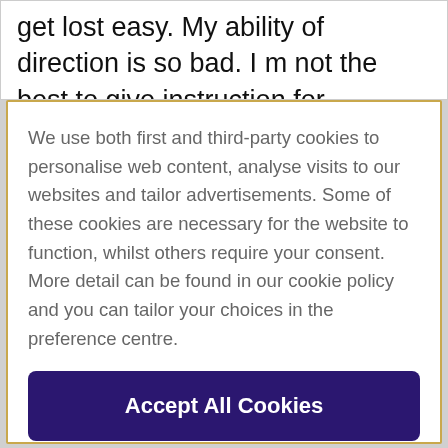get lost easy. My ability of direction is so bad. I m not the best to give instruction for
We use both first and third-party cookies to personalise web content, analyse visits to our websites and tailor advertisements. Some of these cookies are necessary for the website to function, whilst others require your consent. More detail can be found in our cookie policy and you can tailor your choices in the preference centre.
Accept All Cookies
Cookies Settings